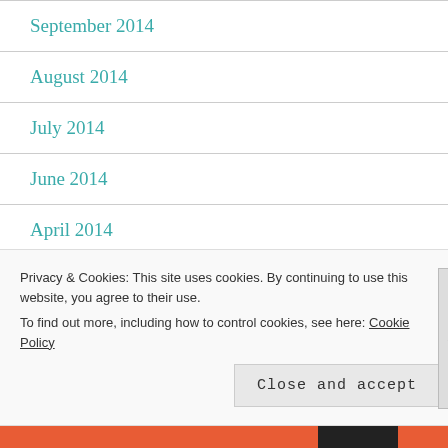September 2014
August 2014
July 2014
June 2014
April 2014
March 2014
February 2014
Privacy & Cookies: This site uses cookies. By continuing to use this website, you agree to their use.
To find out more, including how to control cookies, see here: Cookie Policy
Close and accept